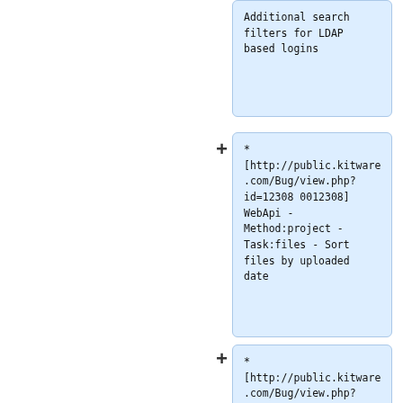* Additional search filters for LDAP based logins
* [http://public.kitware.com/Bug/view.php?id=12308 0012308] WebApi - Method:project - Task:files - Sort files by uploaded date
* [http://public.kitware.com/Bug/view.php?id=11639 0011639] Support committer name and email from git
* [http://public.kitware